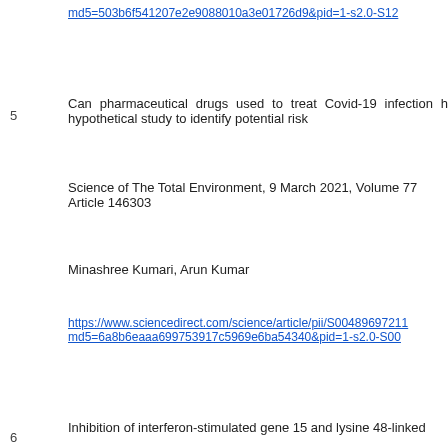md5=503b6f541207e2e9088010a3e01726d9&pid=1-s2.0-S12...
5  Can pharmaceutical drugs used to treat Covid-19 infection h... hypothetical study to identify potential risk
Science of The Total Environment, 9 March 2021, Volume 77... Article 146303
Minashree Kumari, Arun Kumar
https://www.sciencedirect.com/science/article/pii/S00489697211... md5=6a8b6eaaa699753917c5969e6ba54340&pid=1-s2.0-S00...
6  Inhibition of interferon-stimulated gene 15 and lysine 48-linked...